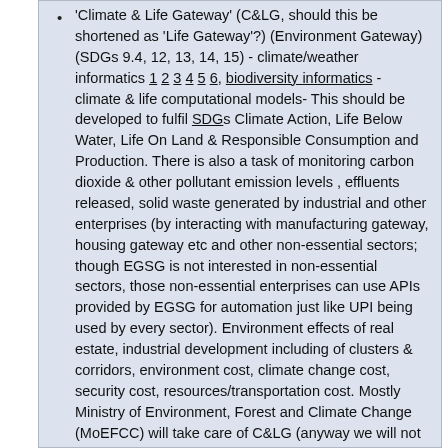'Climate & Life Gateway' (C&LG, should this be shortened as 'Life Gateway'?) (Environment Gateway) (SDGs 9.4, 12, 13, 14, 15) - climate/weather informatics 1 2 3 4 5 6, biodiversity informatics - climate & life computational models- This should be developed to fulfil SDGs Climate Action, Life Below Water, Life On Land & Responsible Consumption and Production. There is also a task of monitoring carbon dioxide & other pollutant emission levels , effluents released, solid waste generated by industrial and other enterprises (by interacting with manufacturing gateway, housing gateway etc and other non-essential sectors; though EGSG is not interested in non-essential sectors, those non-essential enterprises can use APIs provided by EGSG for automation just like UPI being used by every sector). Environment effects of real estate, industrial development including of clusters & corridors, environment cost, climate change cost, security cost, resources/transportation cost. Mostly Ministry of Environment, Forest and Climate Change (MoEFCC) will take care of C&LG (anyway we will not decide which ministry has to take care of which goals here). Gateway will guard against Doughnut outer layer - Planetary boundaries 2 including Air Quality Index (AQI) (atmospheric aerosols 2) and generates notifications/alerts. 'Climate & Life Gateway' has to interoperate with other gateways importantly 'Agriculture Gateway', 'Urban/Rural Governance Gateway', 'Crisis & Risk Management Gateway' as lot of activities related to these gateways heavily dependent on climate &